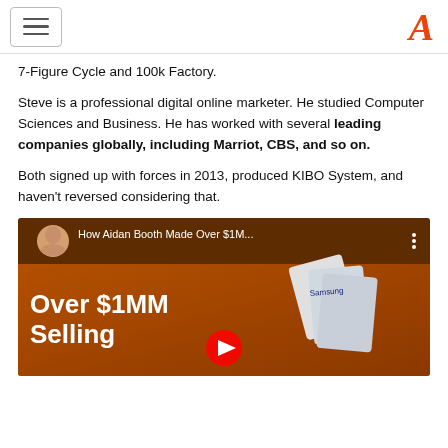[hamburger menu] [A logo]
7-Figure Cycle and 100k Factory.
Steve is a professional digital online marketer. He studied Computer Sciences and Business. He has worked with several leading companies globally, including Marriot, CBS, and so on.
Both signed up with forces in 2013, produced KIBO System, and haven't reversed considering that.
[Figure (screenshot): YouTube video thumbnail showing 'How Aidan Booth Made Over $1M...' with text 'Over $1MM Selling' on an orange/brown background with cards visible on the right side]